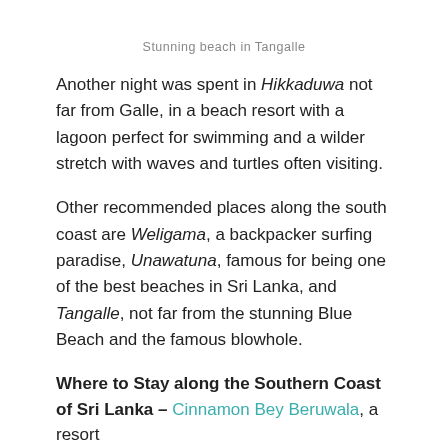Stunning beach in Tangalle
Another night was spent in Hikkaduwa not far from Galle, in a beach resort with a lagoon perfect for swimming and a wilder stretch with waves and turtles often visiting.
Other recommended places along the south coast are Weligama, a backpacker surfing paradise, Unawatuna, famous for being one of the best beaches in Sri Lanka, and Tangalle, not far from the stunning Blue Beach and the famous blowhole.
Where to Stay along the Southern Coast of Sri Lanka – Cinnamon Bey Beruwala, a resort